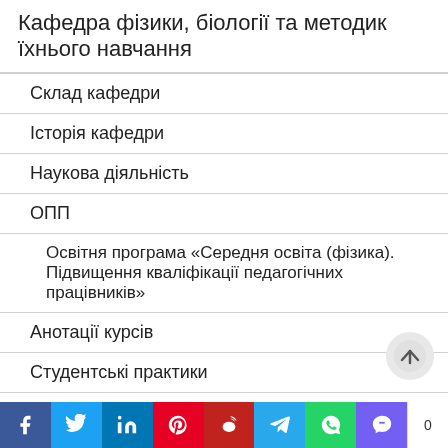Кафедра фізики, біології та методик їхнього навчання
Склад кафедри
Історія кафедри
Наукова діяльність
ОПП
Освітня програма «Середня освіта (фізика). Підвищення кваліфікації педагогічних працівників»
Анотації курсів
Студентські практики
Студентське життя
Кафедра математики, статистики та інформаційних технологій
Склад кафедри